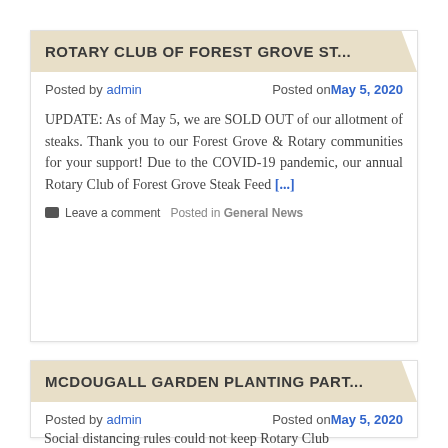ROTARY CLUB OF FOREST GROVE ST...
Posted by admin   Posted on May 5, 2020
UPDATE: As of May 5, we are SOLD OUT of our allotment of steaks. Thank you to our Forest Grove & Rotary communities for your support! Due to the COVID-19 pandemic, our annual Rotary Club of Forest Grove Steak Feed [...]
Leave a comment   Posted in General News
MCDOUGALL GARDEN PLANTING PART...
Posted by admin   Posted on May 5, 2020
Social distancing rules could not keep Rotary Club